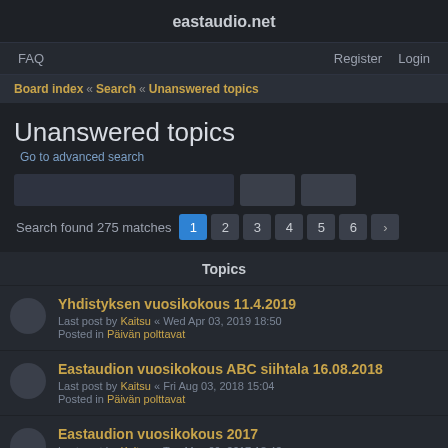eastaudio.net
FAQ   Register   Login
Board index « Search « Unanswered topics
Unanswered topics
Go to advanced search
Search found 275 matches  1  2  3  4  5  6  »
Topics
Yhdistyksen vuosikokous 11.4.2019
Last post by Kaitsu « Wed Apr 03, 2019 18:50
Posted in Päivän polttavat
Eastaudion vuosikokous ABC siihtala 16.08.2018
Last post by Kaitsu « Fri Aug 03, 2018 15:04
Posted in Päivän polttavat
Eastaudion vuosikokous 2017
Last post by Kaitsu « Tue May 09, 2017 18:43